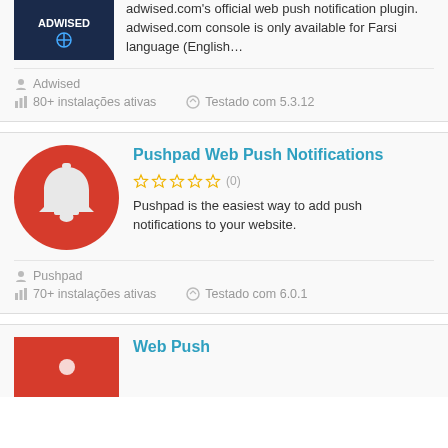adwised.com's official web push notification plugin. adwised.com console is only available for Farsi language (English…
Adwised
80+ instalações ativas
Testado com 5.3.12
Pushpad Web Push Notifications
(0)
Pushpad is the easiest way to add push notifications to your website.
Pushpad
70+ instalações ativas
Testado com 6.0.1
Web Push